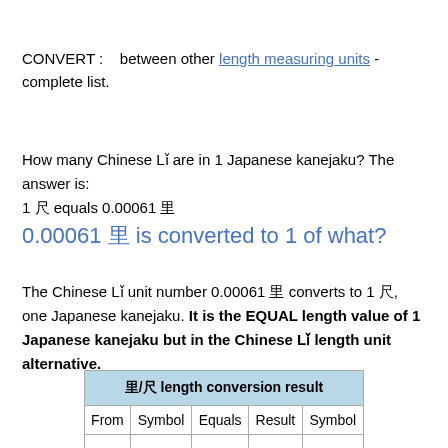CONVERT :   between other length measuring units - complete list.
How many Chinese Lǐ are in 1 Japanese kanejaku? The answer is: 1 尺 equals 0.00061 里
0.00061 里 is converted to 1 of what?
The Chinese Lǐ unit number 0.00061 里 converts to 1 尺, one Japanese kanejaku. It is the EQUAL length value of 1 Japanese kanejaku but in the Chinese Lǐ length unit alternative.
| 里/尺 length conversion result |
| --- |
| From | Symbol | Equals | Result | Symbol |
|  |  |  |  |  |